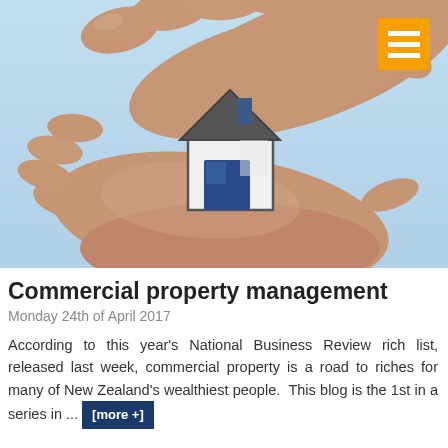[Figure (photo): Two hands cupping a small model house icon against a light blue background, with an orange hamburger menu icon in the top right corner.]
Commercial property management
Monday 24th of April 2017
According to this year's National Business Review rich list, released last week, commercial property is a road to riches for many of New Zealand's wealthiest people.  This blog is the 1st in a series in ...